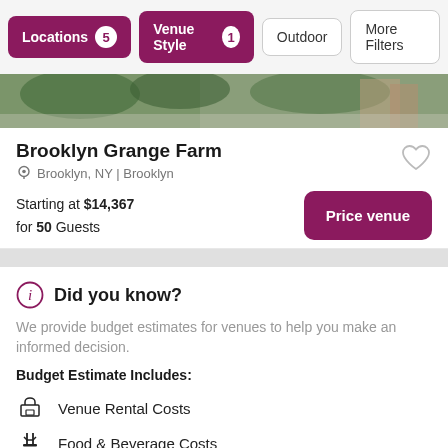Locations 5 | Venue Style 1 | Outdoor | More Filters
[Figure (photo): Partial outdoor venue photo showing greenery and a person]
Brooklyn Grange Farm
Brooklyn, NY | Brooklyn
Starting at $14,367 for 50 Guests
Did you know?
We provide budget estimates for venues to help you make an informed decision.
Budget Estimate Includes:
Venue Rental Costs
Food & Beverage Costs
Taxes and Other Fees
Our Spot Estimate tool helps plan for a budget that works best for